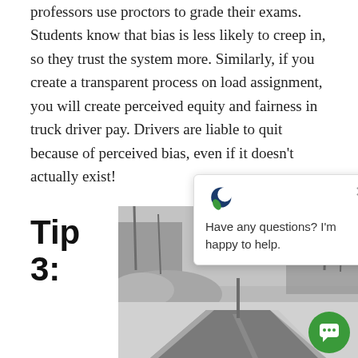professors use proctors to grade their exams. Students know that bias is less likely to creep in, so they trust the system more. Similarly, if you create a transparent process on load assignment, you will create perceived equity and fairness in truck driver pay. Drivers are liable to quit because of perceived bias, even if it doesn't actually exist!
Tip 3:
[Figure (photo): A snowy winter road lined with bare trees and snow-covered rocky terrain, in black and white]
[Figure (screenshot): Chat popup widget with logo, X close button, and text 'Have any questions? I'm happy to help.' with a green circular chat button]